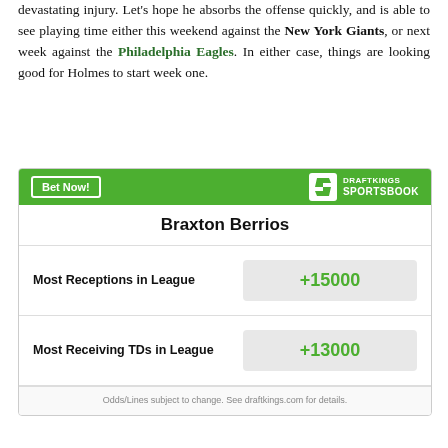devastating injury. Let's hope he absorbs the offense quickly, and is able to see playing time either this weekend against the New York Giants, or next week against the Philadelphia Eagles. In either case, things are looking good for Holmes to start week one.
| Player | Market | Odds |
| --- | --- | --- |
| Braxton Berrios | Most Receptions in League | +15000 |
| Braxton Berrios | Most Receiving TDs in League | +13000 |
Odds/Lines subject to change. See draftkings.com for details.